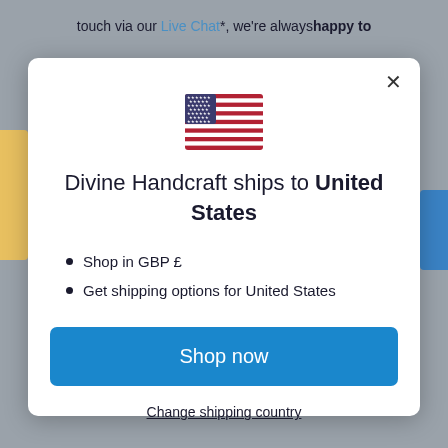touch via our Live Chat*, we're always happy to help
[Figure (illustration): US flag emoji/icon]
Divine Handcraft ships to United States
Shop in GBP £
Get shipping options for United States
Shop now
Change shipping country